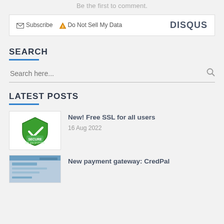Be the first to comment.
Subscribe  Do Not Sell My Data    DISQUS
SEARCH
Search here...
LATEST POSTS
[Figure (illustration): Green shield with checkmark and SECURE SSL ENCRYPTION badge]
New! Free SSL for all users
16 Aug 2022
[Figure (screenshot): Partial thumbnail of CredPal payment gateway post]
New payment gateway: CredPal